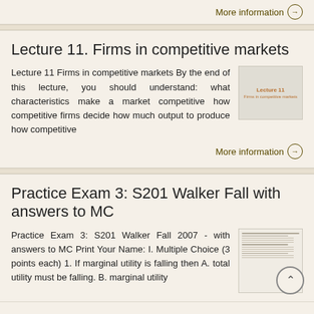More information →
Lecture 11. Firms in competitive markets
Lecture 11 Firms in competitive markets By the end of this lecture, you should understand: what characteristics make a market competitive how competitive firms decide how much output to produce how competitive
[Figure (illustration): Thumbnail image of Lecture 11 slides cover page with orange text reading 'Lecture 11' and subtitle 'Firms in competitive markets']
More information →
Practice Exam 3: S201 Walker Fall with answers to MC
Practice Exam 3: S201 Walker Fall 2007 - with answers to MC Print Your Name: I. Multiple Choice (3 points each) 1. If marginal utility is falling then A. total utility must be falling. B. marginal utility
[Figure (illustration): Thumbnail image of Practice Exam 3 document showing lines of text]